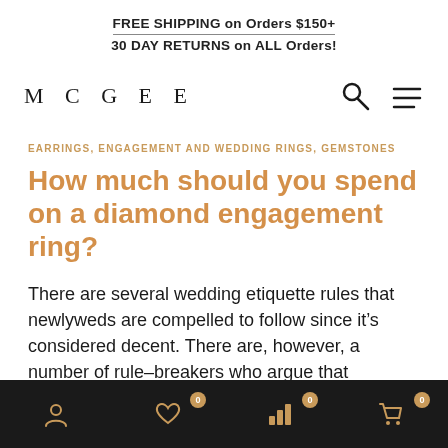FREE SHIPPING on Orders $150+
30 DAY RETURNS on ALL Orders!
M C G E E
EARRINGS, ENGAGEMENT AND WEDDING RINGS, GEMSTONES
How much should you spend on a diamond engagement ring?
There are several wedding etiquette rules that newlyweds are compelled to follow since it’s considered decent. There are, however, a number of rule-breakers who argue that traditional standards have no [...]
Navigation bar with account, wishlist (0), analytics (0), and cart (0) icons